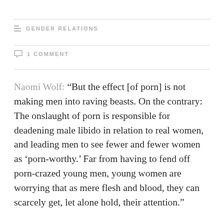GENDER RELATIONS
1 COMMENT
Naomi Wolf: “But the effect [of porn] is not making men into raving beasts. On the contrary: The onslaught of porn is responsible for deadening male libido in relation to real women, and leading men to see fewer and fewer women as ‘porn-worthy.’ Far from having to fend off porn-crazed young men, young women are worrying that as mere flesh and blood, they can scarcely get, let alone hold, their attention.”